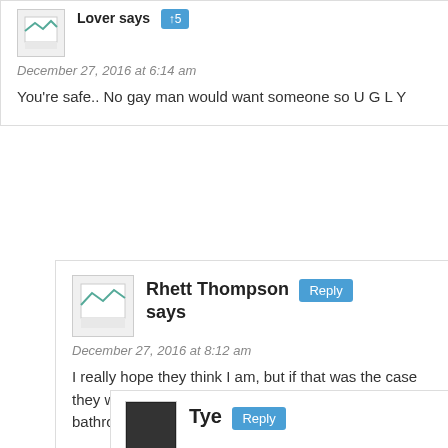Lover says
December 27, 2016 at 6:14 am
You're safe.. No gay man would want someone so U G L Y
Rhett Thompson says
December 27, 2016 at 8:12 am
I really hope they think I am, but if that was the case they wouldnt be trying to get rights to use the same bathroom stalls as when your going would they?
Tye says